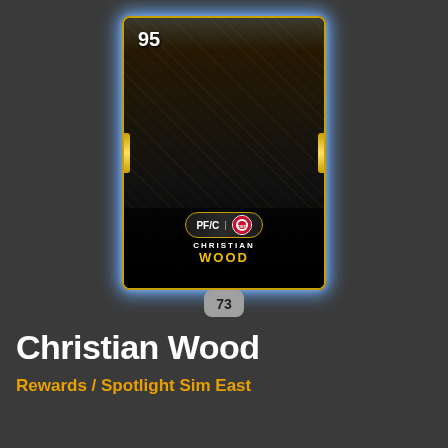[Figure (illustration): NBA 2K MyTeam card for Christian Wood, rated 95 overall. Player shown in Detroit Pistons white jersey #35. Card shows position PF/C and Detroit Pistons team logo. Dark/gold premium card design with glowing blue edges. Player is celebrating with mouth open.]
73
Christian Wood
Rewards / Spotlight Sim East